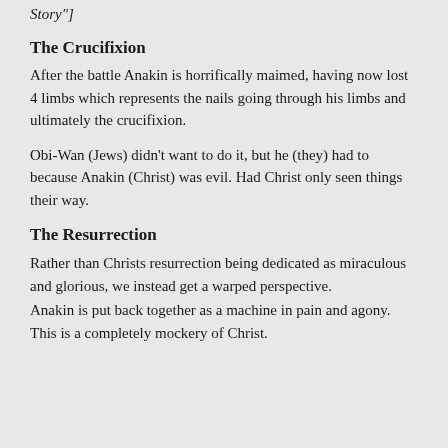Story"]
The Crucifixion
After the battle Anakin is horrifically maimed, having now lost 4 limbs which represents the nails going through his limbs and ultimately the crucifixion.
Obi-Wan (Jews) didn't want to do it, but he (they) had to because Anakin (Christ) was evil. Had Christ only seen things their way.
The Resurrection
Rather than Christs resurrection being dedicated as miraculous and glorious, we instead get a warped perspective.
Anakin is put back together as a machine in pain and agony. This is a completely mockery of Christ.